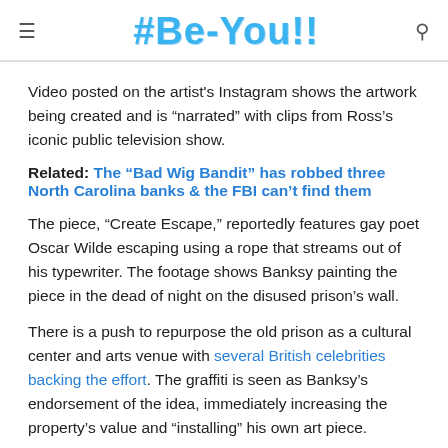#Be-You!!
Video posted on the artist's Instagram shows the artwork being created and is “narrated” with clips from Ross’s iconic public television show.
Related: The “Bad Wig Bandit” has robbed three North Carolina banks & the FBI can’t find them
The piece, “Create Escape,” reportedly features gay poet Oscar Wilde escaping using a rope that streams out of his typewriter. The footage shows Banksy painting the piece in the dead of night on the disused prison’s wall.
There is a push to repurpose the old prison as a cultural center and arts venue with several British celebrities backing the effort. The graffiti is seen as Banksy’s endorsement of the idea, immediately increasing the property’s value and “installing” his own art piece.